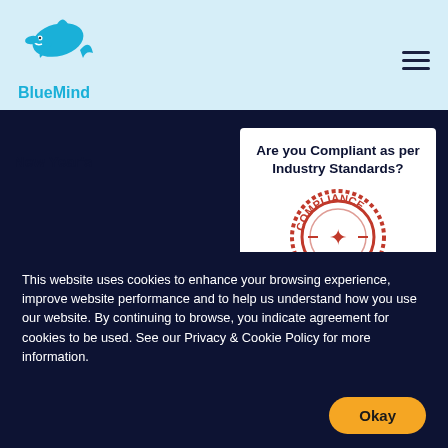BlueMind
New Year's
[Figure (screenshot): Card with bold heading 'Are you Compliant as per Industry Standards?' and a red compliance stamp image below the text]
This website uses cookies to enhance your browsing experience, improve website performance and to help us understand how you use our website. By continuing to browse, you indicate agreement for cookies to be used. See our Privacy & Cookie Policy for more information.
Okay